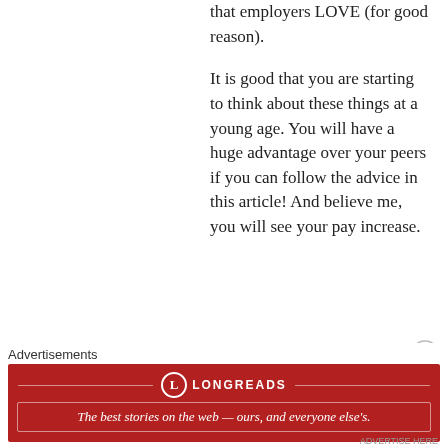that employers LOVE (for good reason).
It is good that you are starting to think about these things at a young age. You will have a huge advantage over your peers if you can follow the advice in this article! And believe me, you will see your pay increase.
★ Like
[Figure (other): Close/dismiss button circle with X]
Advertisements
[Figure (other): Longreads advertisement banner in red with tagline: The best stories on the web — ours, and everyone else's.]